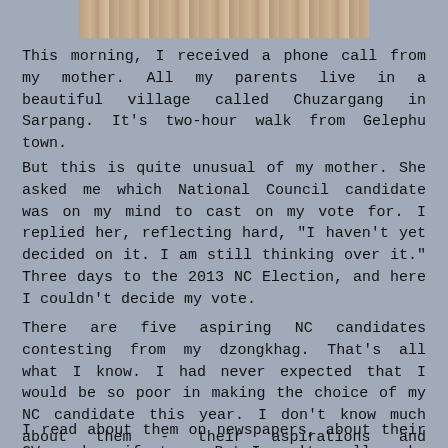[Figure (photo): A horizontal strip of images at the top of the page showing people.]
This morning, I received a phone call from my mother. All my parents live in a beautiful village called Chuzargang in Sarpang. It’s two-hour walk from Gelephu town.
But this is quite unusual of my mother. She asked me which National Council candidate was on my mind to cast on my vote for. I replied her, reflecting hard, “I haven’t yet decided on it. I am still thinking over it.” Three days to the 2013 NC Election, and here I couldn’t decide my vote.
There are five aspiring NC candidates contesting from my dzongkhag. That’s all what I know. I had never expected that I would be so poor in making the choice of my NC candidate this year. I don’t know much about them - their aspirations and manifestoes. I haven’t met them in person, too.
I read about them on newspapers, about their CVs and manifestoes. But I can’t really make up my mind to vote based on the newspapers alone. The depth is that I noticed the elections of the